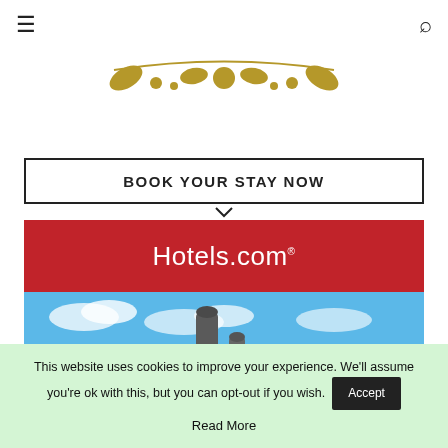Navigation bar with hamburger menu and search icon
[Figure (logo): Decorative golden leaf/dot ornament logo for a hotel or travel website]
BOOK YOUR STAY NOW
[Figure (screenshot): Hotels.com advertisement banner with red logo bar and scenic photo of rocky landscape with blue sky]
This website uses cookies to improve your experience. We'll assume you're ok with this, but you can opt-out if you wish. Accept Read More